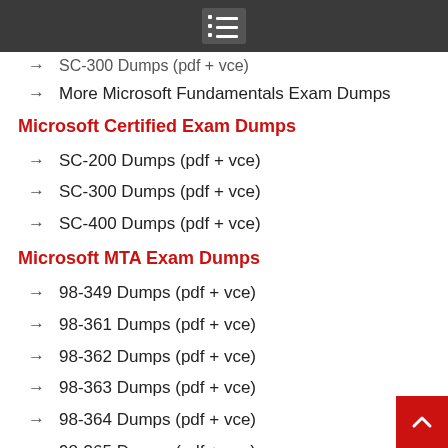SC-300 Dumps (pdf + vce)
More Microsoft Fundamentals Exam Dumps
Microsoft Certified Exam Dumps
SC-200 Dumps (pdf + vce)
SC-300 Dumps (pdf + vce)
SC-400 Dumps (pdf + vce)
Microsoft MTA Exam Dumps
98-349 Dumps (pdf + vce)
98-361 Dumps (pdf + vce)
98-362 Dumps (pdf + vce)
98-363 Dumps (pdf + vce)
98-364 Dumps (pdf + vce)
98-365 Dumps (pdf + vce)